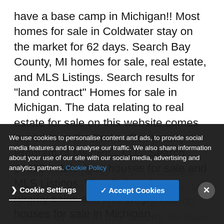have a base camp in Michigan!! Most homes for sale in Coldwater stay on the market for 62 days. Search Bay County, MI homes for sale, real estate, and MLS Listings. Search results for "land contract" Homes for sale in Michigan. The data relating to real estate for sale on this website comes in part from the Broker Reciprocity Program of MichRIC, LLC. Search 39305 in Michigan houses for sale and MLS Listings. View listing photos, nearby sales and find the perfect houses for sale in Michigan.
View listing photos, review sales history, and use our detailed real estate filters to find the perfect place. View 25 homes for sale in Armada, MI, at a median listing price of $259,900. Homes for sale in Bay County, MI have a...
We use cookies to personalise content and ads, to provide social media features and to analyse our traffic. We also share information about your use of our site with our social media, advertising and analytics partners. Cookie Policy